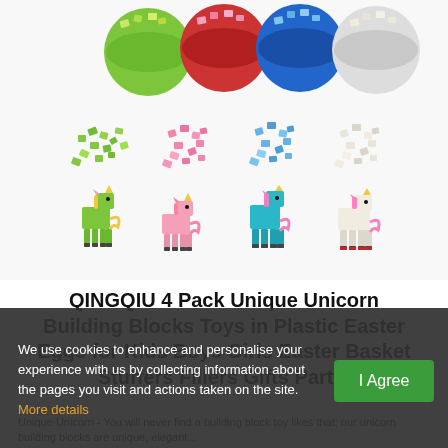[Figure (photo): Product photo showing 4 plastic Easter eggs in green, red, blue, and white colors (top half shells), piles of small colorful building block pieces below them in matching colors, and 4 assembled unicorn figures made from building blocks at the bottom.]
QINGQIU 4 Pack Unique Unicorn Building Blocks Toys in Plastic Easter Eggs for Kids Boys Girls Easter Basket Stuffers Fillers Gifts Part...
Unique Unicorn - You will never find a building block toy likes that; our unicorn building blocks are unique, elegant...
We use cookies to enhance and personalise your experience with us by collecting information about the pages you visit and actions taken on the site. More details
I Agree